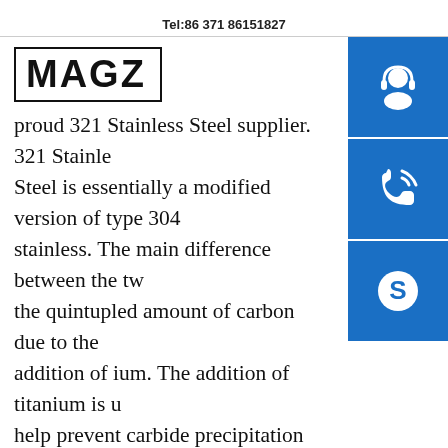Tel:86 371 86151827
MAGZ
proud 321 Stainless Steel supplier. 321 Stainless Steel is essentially a modified version of type 304 stainless. The main difference between the two is the quintupled amount of carbon due to the addition of ium. The addition of titanium is used to help prevent carbide precipitation during 400 Series Stainless – Penn Stainless400 Series Stainless. The 400 series group of stainless steels has an 11 percent chromium and 1-percent manganese increase, above the 300 series group. The 400 series is susceptible to rust and corrosion under some conditions. Heat-treating will harden the 400
[Figure (infographic): Three blue square icon buttons on right side: headset/support icon, phone icon, Skype icon]
[Figure (infographic): Pink/red circular settings gear icon button at bottom left]